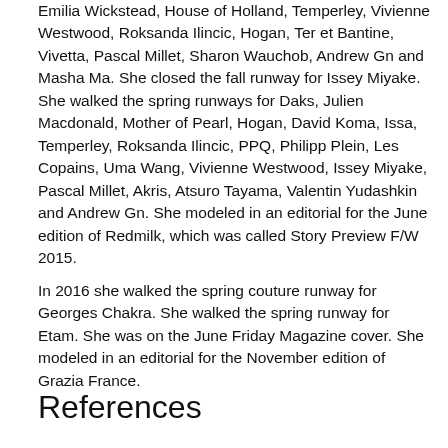Emilia Wickstead, House of Holland, Temperley, Vivienne Westwood, Roksanda Ilincic, Hogan, Ter et Bantine, Vivetta, Pascal Millet, Sharon Wauchob, Andrew Gn and Masha Ma. She closed the fall runway for Issey Miyake. She walked the spring runways for Daks, Julien Macdonald, Mother of Pearl, Hogan, David Koma, Issa, Temperley, Roksanda Ilincic, PPQ, Philipp Plein, Les Copains, Uma Wang, Vivienne Westwood, Issey Miyake, Pascal Millet, Akris, Atsuro Tayama, Valentin Yudashkin and Andrew Gn. She modeled in an editorial for the June edition of Redmilk, which was called Story Preview F/W 2015.
In 2016 she walked the spring couture runway for Georges Chakra. She walked the spring runway for Etam. She was on the June Friday Magazine cover. She modeled in an editorial for the November edition of Grazia France.
References